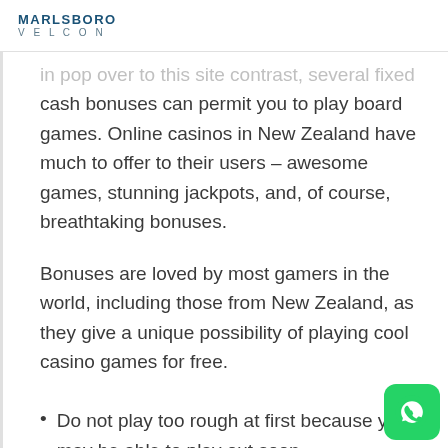MARLSBORO VELCON
in pop over to this site contrast, several fixed cash bonuses can permit you to play board games. Online casinos in New Zealand have much to offer to their users – awesome games, stunning jackpots, and, of course, breathtaking bonuses.
Bonuses are loved by most gamers in the world, including those from New Zealand, as they give a unique possibility of playing cool casino games for free.
Do not play too rough at first because you may be able to play out soon.